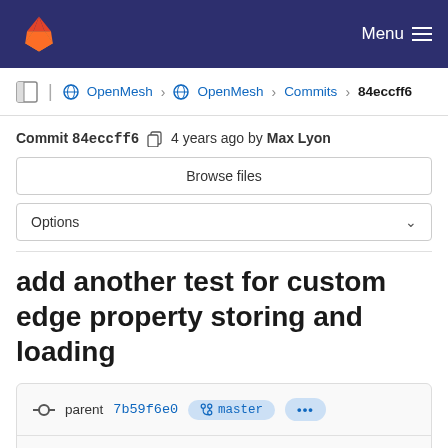Menu
OpenMesh › OpenMesh › Commits › 84eccff6
Commit 84eccff6  4 years ago by Max Lyon
Browse files
Options
add another test for custom edge property storing and loading
parent 7b59f6e0  master  ...
1 merge request !184 Persistent edge properties